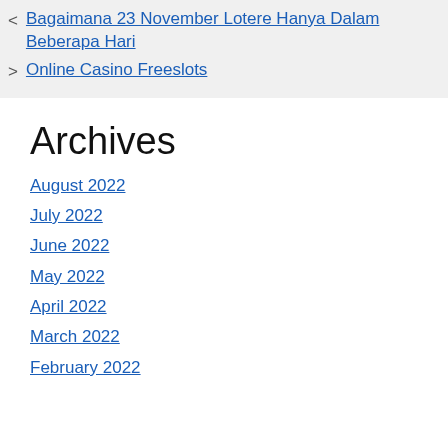Bagaimana 23 November Lotere Hanya Dalam Beberapa Hari
Online Casino Freeslots
Archives
August 2022
July 2022
June 2022
May 2022
April 2022
March 2022
February 2022